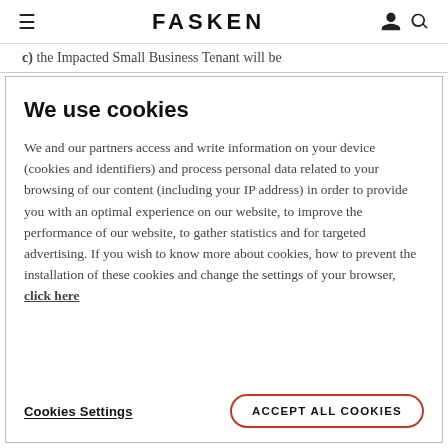FASKEN
c) the Impacted Small Business Tenant will be
We use cookies
We and our partners access and write information on your device (cookies and identifiers) and process personal data related to your browsing of our content (including your IP address) in order to provide you with an optimal experience on our website, to improve the performance of our website, to gather statistics and for targeted advertising. If you wish to know more about cookies, how to prevent the installation of these cookies and change the settings of your browser, click here
Cookies Settings
ACCEPT ALL COOKIES